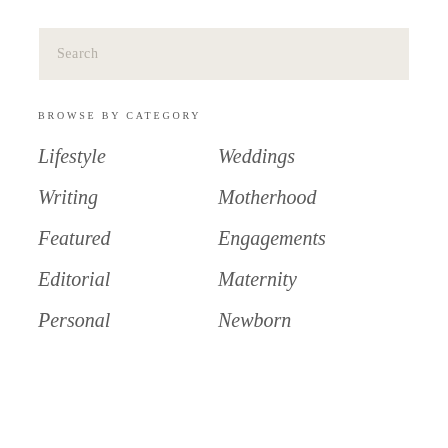Search
BROWSE BY CATEGORY
Lifestyle
Weddings
Writing
Motherhood
Featured
Engagements
Editorial
Maternity
Personal
Newborn